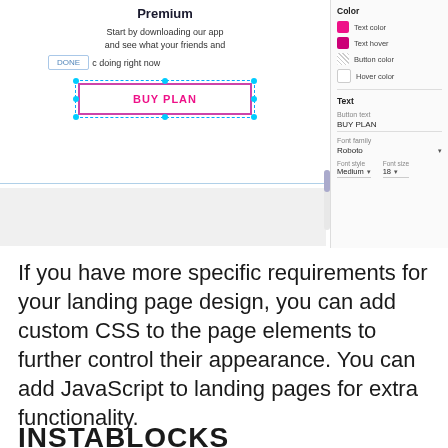[Figure (screenshot): Screenshot of a landing page builder UI showing a 'Premium' plan card with a 'BUY PLAN' button selected (with blue resize handles), and a right panel with color and text settings including: Color (Text color – pink, Text hover – magenta, Button color – hatched, Hover color – white), Text section with Button text 'BUY PLAN', Font family 'Roboto', Font style 'Medium', Font size '18'.]
If you have more specific requirements for your landing page design, you can add custom CSS to the page elements to further control their appearance. You can add JavaScript to landing pages for extra functionality.
INSTABLOCKS